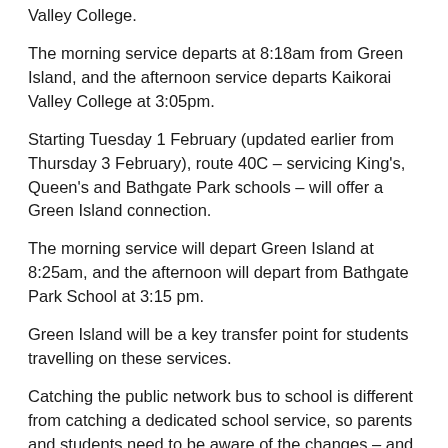Valley College.
The morning service departs at 8:18am from Green Island, and the afternoon service departs Kaikorai Valley College at 3:05pm.
Starting Tuesday 1 February (updated earlier from Thursday 3 February), route 40C – servicing King's, Queen's and Bathgate Park schools – will offer a Green Island connection.
The morning service will depart Green Island at 8:25am, and the afternoon will depart from Bathgate Park School at 3:15 pm.
Green Island will be a key transfer point for students travelling on these services.
Catching the public network bus to school is different from catching a dedicated school service, so parents and students need to be aware of the changes – and account for longer journey times, said ORC Implementation Lead – Transport Julian Phillips.
“Understanding routes and transfers will be vital to ensuring a smooth journey for all students. Students should get a Bee Card, with a youth concession providing cheaper fares for their journey to school, and these can be purchased from ORC and